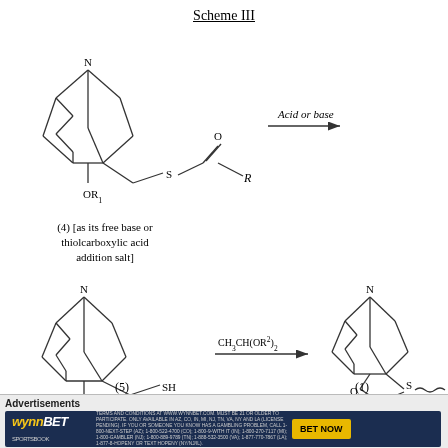Scheme III
[Figure (schematic): Chemical reaction scheme showing compound (4) [as its free base or thiolcarboxylic acid addition salt] — a bridged bicyclic amine with OR1 group and CH2-S-C(=O)-R side chain — reacting under Acid or base conditions (arrow) to give a product.]
(4) [as its free base or thiolcarboxylic acid addition salt]
[Figure (schematic): Chemical reaction scheme showing compound (5) — a bridged bicyclic amine with OH group and CH2-SH side chain — reacting with CH3CH(OR2)2 (arrow) to give compound (1) — a bicyclic amine fused with a 1,3-oxathiolane ring system.]
(5)
(1)
EXAMPLE 1 Preparation of the Enantiomers of C...